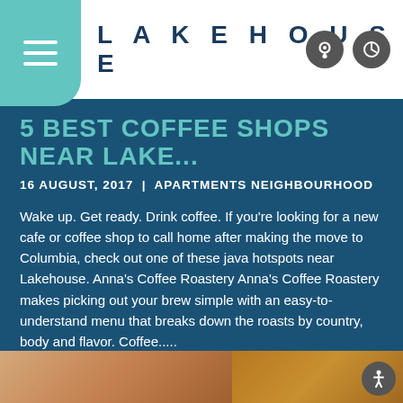LAKEHOUSE
5 BEST COFFEE SHOPS NEAR LAKE...
16 AUGUST, 2017  |  APARTMENTS NEIGHBOURHOOD
Wake up. Get ready. Drink coffee. If you're looking for a new cafe or coffee shop to call home after making the move to Columbia, check out one of these java hotspots near Lakehouse. Anna's Coffee Roastery Anna's Coffee Roastery makes picking out your brew simple with an easy-to-understand menu that breaks down the roasts by country, body and flavor. Coffee.....
READ MORE
[Figure (photo): Bottom image strip showing partial photos]